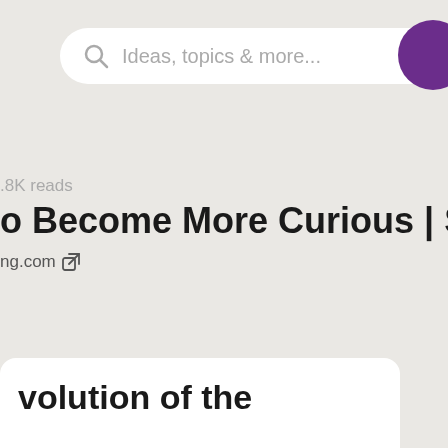[Figure (screenshot): Search bar with placeholder text 'Ideas, topics & more...' and a purple circle avatar in top right]
.8K reads
o Become More Curious | Scott H Young
ng.com ↗
volution of the
st pictures as an
e that we were motivated
.Loewenstein offered a
n his information gap